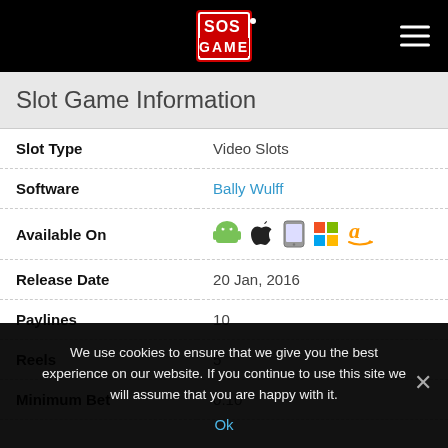SOS Game - navigation bar with logo and hamburger menu
Slot Game Information
| Field | Value |
| --- | --- |
| Slot Type | Video Slots |
| Software | Bally Wulff |
| Available On | [Android, iOS, Tablet, Windows, Amazon] |
| Release Date | 20 Jan, 2016 |
| Paylines | 10 |
| Reels | 5 |
| Minimum Bet | 0.10 |
We use cookies to ensure that we give you the best experience on our website. If you continue to use this site we will assume that you are happy with it.
Ok